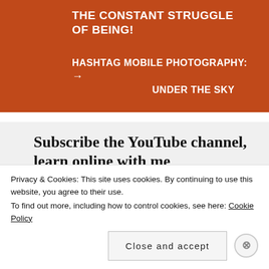THE CONSTANT STRUGGLE OF BEING!
HASHTAG MOBILE PHOTOGRAPHY:  → UNDER THE SKY
Subscribe the YouTube channel, learn online with me
[Figure (photo): Promotional image showing 'Learn skills in' text on green badge and a person's avatar]
Privacy & Cookies: This site uses cookies. By continuing to use this website, you agree to their use.
To find out more, including how to control cookies, see here: Cookie Policy
Close and accept